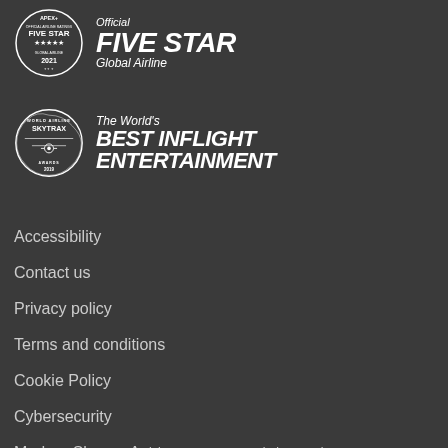[Figure (logo): APEX+ Official Airline Ratings Five Star Global Airline 2021 badge with circular emblem and text]
[Figure (logo): Skytrax World Airline Awards 2019 The World's Best Inflight Entertainment badge]
Accessibility
Contact us
Privacy policy
Terms and conditions
Cookie Policy
Cybersecurity
Modern Slavery Act transparency statement
Sitemap